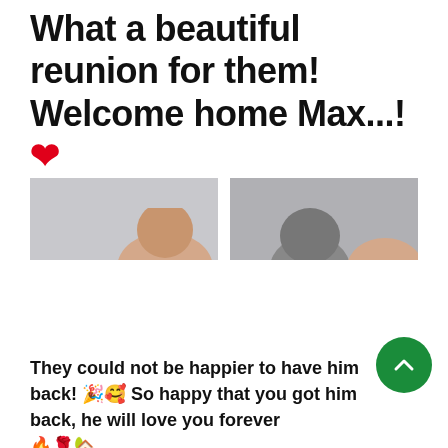What a beautiful reunion for them! Welcome home Max...!❤
[Figure (photo): Two side-by-side cropped photos showing tops of human heads/hair, likely depicting a reunion scene]
They could not be happier to have him back! 🎉🥰 So happy that you got him back, he will love you forever 🔥🌹🏡